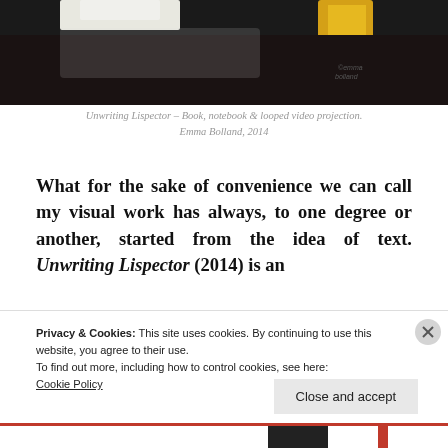[Figure (photo): Photograph showing a dark table surface with white and yellow fabric/clothing items, partially cropped at the top of the page. Watermark text visible in lower right corner.]
Unwriting Lispector – Book, notebook & looped video projection. Emma Bolland, 2014
What for the sake of convenience we can call my visual work has always, to one degree or another, started from the idea of text. Unwriting Lispector (2014) is an
Privacy & Cookies: This site uses cookies. By continuing to use this website, you agree to their use.
To find out more, including how to control cookies, see here:
Cookie Policy